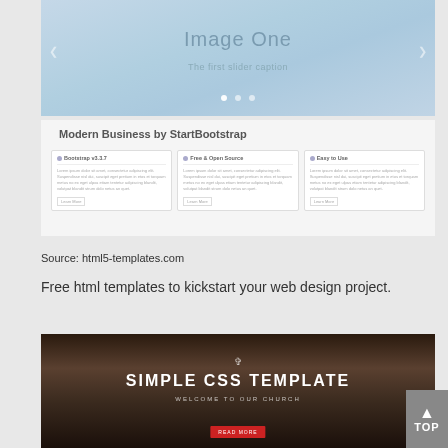[Figure (screenshot): Screenshot of a website slider showing 'Image One' with 'The first slider caption' on a blue gradient background with navigation arrows and dots]
[Figure (screenshot): Screenshot of 'Modern Business by StartBootstrap' website with three feature cards: Bootstrap v3.3.7, Free & Open Source, Easy to Use]
Source: html5-templates.com
Free html templates to kickstart your web design project.
[Figure (screenshot): Screenshot of 'Simple CSS Template' church website with dark gothic cathedral background, title 'SIMPLE CSS TEMPLATE', subtitle 'WELCOME TO OUR CHURCH' and a red button]